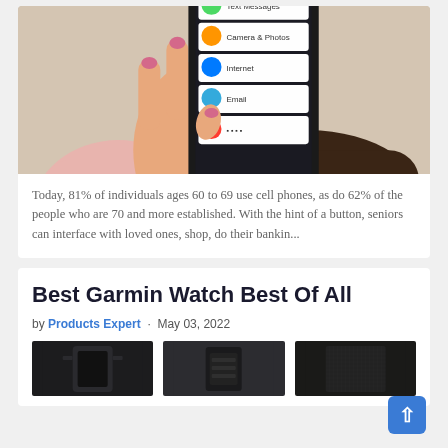[Figure (photo): Person holding a smartphone with visible app icons on screen including Text Messages, Camera & Photos, Internet, Email, and another app. The person has pink nails and is wearing a pink sweater.]
Today, 81% of individuals ages 60 to 69 use cell phones, as do 62% of the people who are 70 and more established. With the hint of a button, seniors can interface with loved ones, shop, do their bankin...
Best Garmin Watch Best Of All
by Products Expert · May 03, 2022
[Figure (photo): Three product thumbnail images of Garmin watch bands/accessories in dark colors]